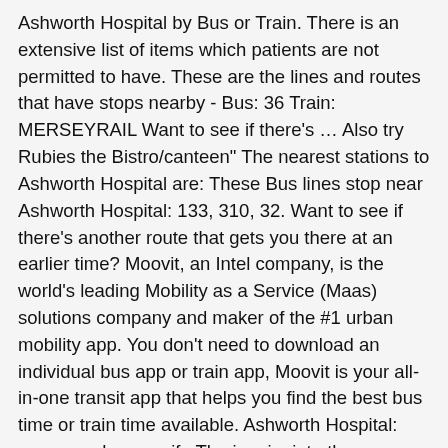Ashworth Hospital by Bus or Train. There is an extensive list of items which patients are not permitted to have. These are the lines and routes that have stops nearby - Bus: 36 Train: MERSEYRAIL Want to see if there's … Also try Rubies the Bistro/canteen" The nearest stations to Ashworth Hospital are: These Bus lines stop near Ashworth Hospital: 133, 310, 32. Want to see if there's another route that gets you there at an earlier time? Moovit, an Intel company, is the world's leading Mobility as a Service (Maas) solutions company and maker of the #1 urban mobility app. You don't need to download an individual bus app or train app, Moovit is your all-in-one transit app that helps you find the best bus time or train time available. Ashworth Hospital: pornography was rife The inquiry into the Ashworth top security hospital uncovered an appalling catalogue of mismanagement and security lapses at the unit. Land End, Melling is 1803 meters away, 24 min walk. You can reach them on 0151 473 0303. We make riding to ASHWORTH HOSPITAL easy, which is why over 865 million users, including users in Liverpool, trust Moovit as the best app for public